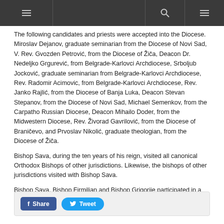Navigation bar with hamburger menu, search icon, and menu icon
The following candidates and priests were accepted into the Diocese. Miroslav Dejanov, graduate seminarian from the Diocese of Novi Sad, V. Rev. Gvozden Petrović, from the Diocese of Žiča, Deacon Dr. Nedeljko Grgurević, from Belgrade-Karlovci Archdiocese, Srboljub Jocković, graduate seminarian from Belgrade-Karlovci Archdiocese, Rev. Radomir Acimovic, from Belgrade-Karlovci Archdiocese, Rev. Janko Rajlić, from the Diocese of Banja Luka, Deacon Stevan Stepanov, from the Diocese of Novi Sad, Michael Semenkov, from the Carpatho Russian Diocese, Deacon Mihailo Doder, from the Midwestern Diocese, Rev. Živorad Gavrilović, from the Diocese of Braničevo, and Prvoslav Nikolić, graduate theologian, from the Diocese of Žiča.
Bishop Sava, during the ten years of his reign, visited all canonical Orthodox Bishops of other jurisdictions. Likewise, the bishops of other jurisdictions visited with Bishop Sava.
Bishop Sava, Bishop Firmilian and Bishop Grigorije participated in a prayer breakfast given in the White House by President Nixon on February 5, 1970.